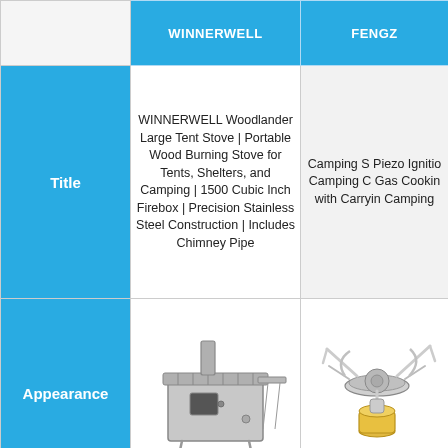|  | WINNERWELL | FENGZ |
| --- | --- | --- |
| Title | WINNERWELL Woodlander Large Tent Stove | Portable Wood Burning Stove for Tents, Shelters, and Camping | 1500 Cubic Inch Firebox | Precision Stainless Steel Construction | Includes Chimney Pipe | Camping S Piezo Ignition Camping G Gas Cookin with Carryin Camping |
| Appearance | [product image: wood stove] | [product image: camping stove burner] |